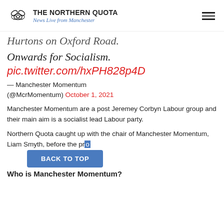THE NORTHERN QUOTA — News Live from Manchester
Hurtons on Oxford Road.
Onwards for Socialism.
pic.twitter.com/hxPH828p4D
— Manchester Momentum (@McrMomentum) October 1, 2021
Manchester Momentum are a post Jeremey Corbyn Labour group and their main aim is a socialist lead Labour party.
Northern Quota caught up with the chair of Manchester Momentum, Liam Smyth, before the pro...
Who is Manchester Momentum?